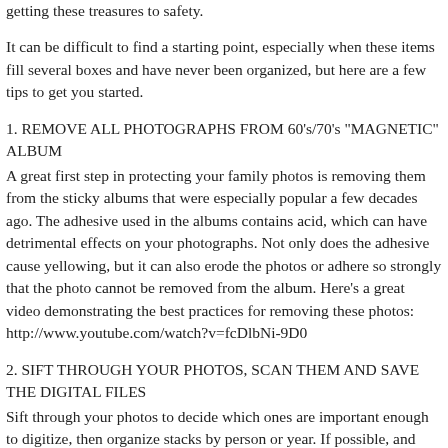getting these treasures to safety.
It can be difficult to find a starting point, especially when these items fill several boxes and have never been organized, but here are a few tips to get you started.
1. REMOVE ALL PHOTOGRAPHS FROM 60's/70's "MAGNETIC" ALBUM
A great first step in protecting your family photos is removing them from the sticky albums that were especially popular a few decades ago. The adhesive used in the albums contains acid, which can have detrimental effects on your photographs. Not only does the adhesive cause yellowing, but it can also erode the photos or adhere so strongly that the photo cannot be removed from the album. Here's a great video demonstrating the best practices for removing these photos:
http://www.youtube.com/watch?v=fcDlbNi-9D0
2. SIFT THROUGH YOUR PHOTOS, SCAN THEM AND SAVE THE DIGITAL FILES
Sift through your photos to decide which ones are important enough to digitize, then organize stacks by person or year. If possible, and with an acid free pencil, make note of any information you can remember about the photo on its back. Now scan the photos at the highest possible resolution and save each photo to a hard